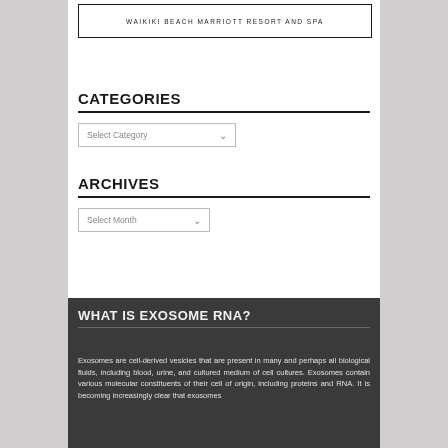WAIKIKI BEACH MARRIOTT RESORT AND SPA
CATEGORIES
Select Category
ARCHIVES
Select Month
WHAT IS EXOSOME RNA?
Exosomes are cell-derived vesicles that are present in many and perhaps all biological fluids, including blood, urine, and cultured medium of cell cultures. Exosomes contain various molecular constituents of their cell of origin, including proteins and RNA. It is becoming increasingly clear that exosomes